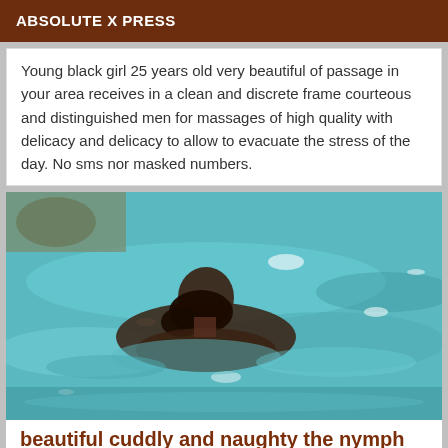ABSOLUTE X PRESS
Young black girl 25 years old very beautiful of passage in your area receives in a clean and discrete frame courteous and distinguished men for massages of high quality with delicacy and delicacy to allow to evacuate the stress of the day. No sms nor masked numbers.
[Figure (photo): A person with dark hair swimming in a turquoise pool, viewed from behind/side, with pool edges and rocks visible in the background.]
beautiful cuddly and naughty the nymph